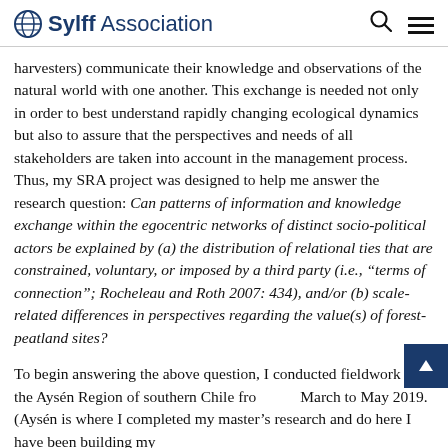Sylff Association
harvesters) communicate their knowledge and observations of the natural world with one another. This exchange is needed not only in order to best understand rapidly changing ecological dynamics but also to assure that the perspectives and needs of all stakeholders are taken into account in the management process. Thus, my SRA project was designed to help me answer the research question: Can patterns of information and knowledge exchange within the egocentric networks of distinct socio-political actors be explained by (a) the distribution of relational ties that are constrained, voluntary, or imposed by a third party (i.e., “terms of connection”; Rocheleau and Roth 2007: 434), and/or (b) scale-related differences in perspectives regarding the value(s) of forest-peatland sites?
To begin answering the above question, I conducted fieldwork in the Aysén Region of southern Chile from March to May 2019. (Aysén is where I completed my master’s research and where I have been building my...